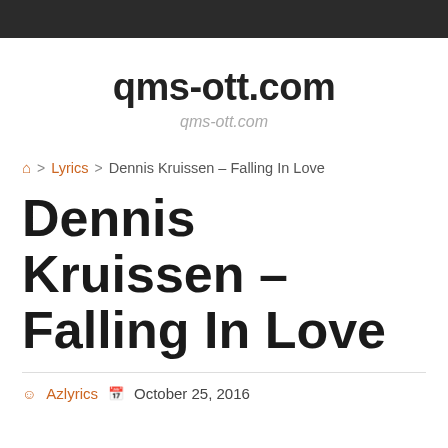qms-ott.com
qms-ott.com
qms-ott.com
🏠 > Lyrics > Dennis Kruissen – Falling In Love
Dennis Kruissen – Falling In Love
Azlyrics  October 25, 2016